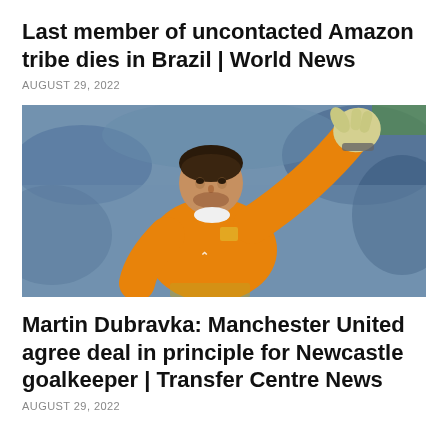Last member of uncontacted Amazon tribe dies in Brazil | World News
AUGUST 29, 2022
[Figure (photo): A goalkeeper wearing an orange jersey with his arm raised and pointing, gloved hand visible, blurred crowd in background]
Martin Dubravka: Manchester United agree deal in principle for Newcastle goalkeeper | Transfer Centre News
AUGUST 29, 2022